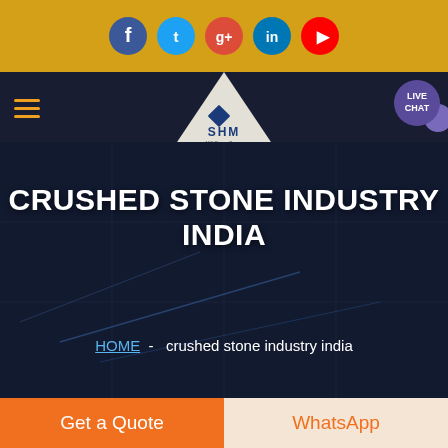Social media icons bar: Facebook, Twitter, Google+, LinkedIn, YouTube
[Figure (screenshot): Navigation bar with hamburger menu, SHM logo (diamond shape), and live chat bubble]
CRUSHED STONE INDUSTRY INDIA
HOME  -  crushed stone industry india
[Figure (photo): Partial image of industrial/engineering environment at bottom]
Get a Quote
WhatsApp